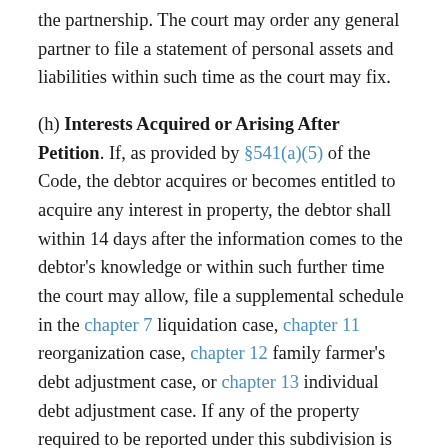the partnership. The court may order any general partner to file a statement of personal assets and liabilities within such time as the court may fix.
(h) Interests Acquired or Arising After Petition. If, as provided by §541(a)(5) of the Code, the debtor acquires or becomes entitled to acquire any interest in property, the debtor shall within 14 days after the information comes to the debtor's knowledge or within such further time the court may allow, file a supplemental schedule in the chapter 7 liquidation case, chapter 11 reorganization case, chapter 12 family farmer's debt adjustment case, or chapter 13 individual debt adjustment case. If any of the property required to be reported under this subdivision is claimed by the debtor as exempt, the debtor shall claim the exemptions in the supplemental schedule. The duty to